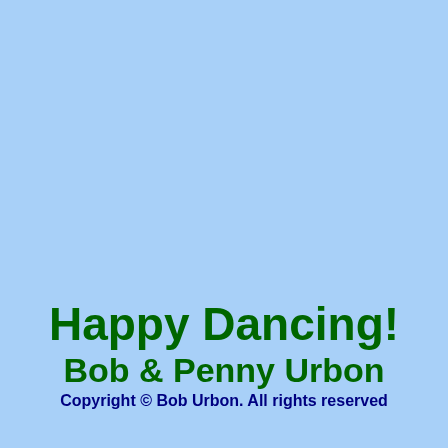Happy Dancing!
Bob & Penny Urbon
Copyright © Bob Urbon. All rights reserved